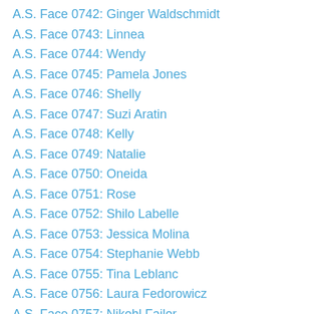A.S. Face 0742: Ginger Waldschmidt
A.S. Face 0743: Linnea
A.S. Face 0744: Wendy
A.S. Face 0745: Pamela Jones
A.S. Face 0746: Shelly
A.S. Face 0747: Suzi Aratin
A.S. Face 0748: Kelly
A.S. Face 0749: Natalie
A.S. Face 0750: Oneida
A.S. Face 0751: Rose
A.S. Face 0752: Shilo Labelle
A.S. Face 0753: Jessica Molina
A.S. Face 0754: Stephanie Webb
A.S. Face 0755: Tina Leblanc
A.S. Face 0756: Laura Fedorowicz
A.S. Face 0757: Nikohl Failor
A.S. Face 0758: Maria Rodriguez
A.S. Face 0759: Cody Stahl
A.S. Face 0760: Shane Doane
A.S. Face 0761: Nav